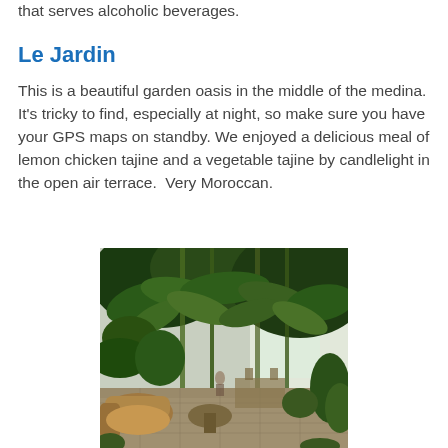that serves alcoholic beverages.
Le Jardin
This is a beautiful garden oasis in the middle of the medina. It's tricky to find, especially at night, so make sure you have your GPS maps on standby. We enjoyed a delicious meal of lemon chicken tajine and a vegetable tajine by candlelight in the open air terrace.  Very Moroccan.
[Figure (photo): Interior garden restaurant with lush tropical plants and bamboo trees overhead, wicker furniture seating area on stone tile floor, bright greenhouse-style windows in background.]